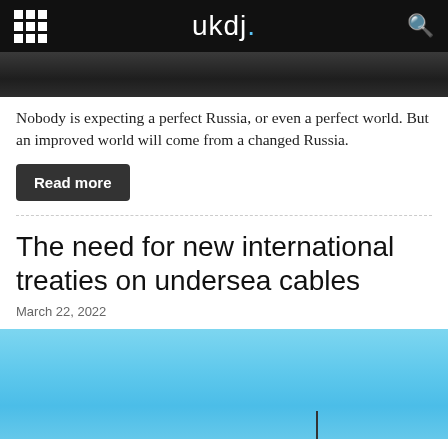ukdj.
[Figure (photo): Dark image strip, appears to be a cropped portion of a photograph with dark/grey tones]
Nobody is expecting a perfect Russia, or even a perfect world. But an improved world will come from a changed Russia.
Read more
The need for new international treaties on undersea cables
March 22, 2022
[Figure (photo): Light blue sky photograph, partially visible, with a small dark silhouette element near the bottom right]